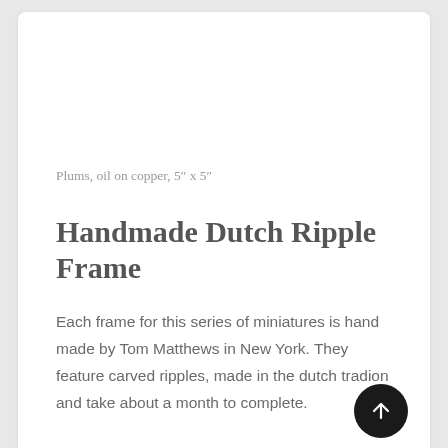Plums, oil on copper, 5″ x 5″
Handmade Dutch Ripple Frame
Each frame for this series of miniatures is hand made by Tom Matthews in New York. They feature carved ripples, made in the dutch tradion and take about a month to complete.